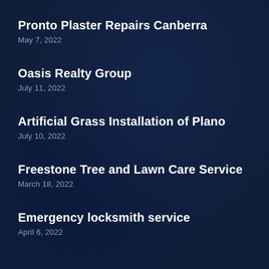Pronto Plaster Repairs Canberra
May 7, 2022
Oasis Realty Group
July 11, 2022
Artificial Grass Installation of Plano
July 10, 2022
Freestone Tree and Lawn Care Service
March 18, 2022
Emergency locksmith service
April 6, 2022